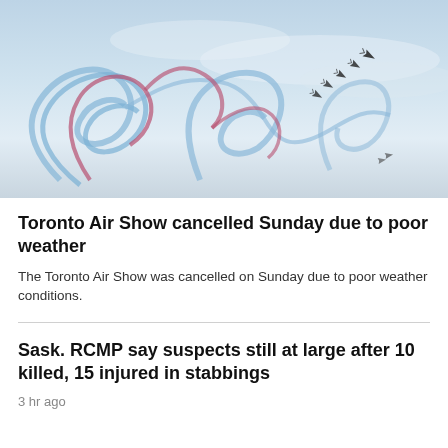[Figure (photo): Aerial display aircraft performing looping manoeuvres with blue and red coloured smoke trails against a pale sky background]
Toronto Air Show cancelled Sunday due to poor weather
The Toronto Air Show was cancelled on Sunday due to poor weather conditions.
Sask. RCMP say suspects still at large after 10 killed, 15 injured in stabbings
3 hr ago